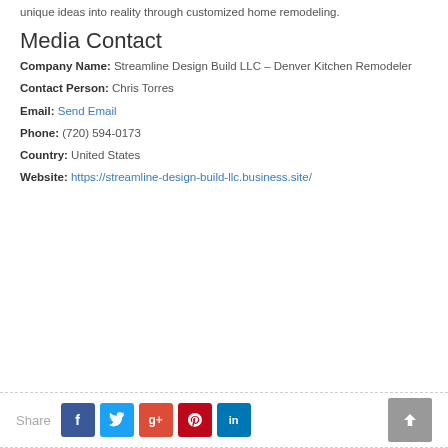unique ideas into reality through customized home remodeling.
Media Contact
Company Name: Streamline Design Build LLC – Denver Kitchen Remodeler
Contact Person: Chris Torres
Email: Send Email
Phone: (720) 594-0173
Country: United States
Website: https://streamline-design-build-llc.business.site/
Share